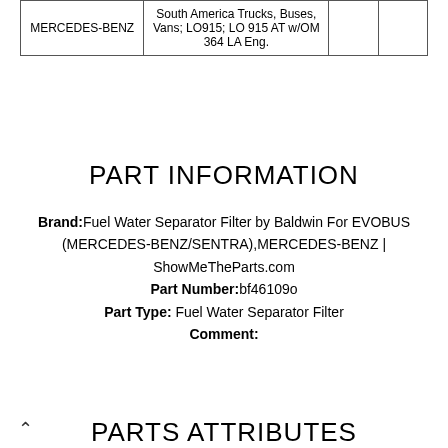| MERCEDES-BENZ | South America Trucks, Buses, Vans; LO915; LO 915 AT w/OM 364 LA Eng. |  |  |
PART INFORMATION
Brand: Fuel Water Separator Filter by Baldwin For EVOBUS (MERCEDES-BENZ/SENTRA),MERCEDES-BENZ | ShowMeTheParts.com
Part Number: bf46109o
Part Type: Fuel Water Separator Filter
Comment:
PARTS ATTRIBUTES